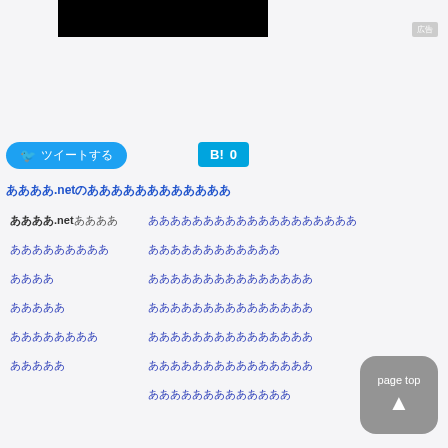[Figure (screenshot): Black banner/image at top of page]
広告 (AD badge)
[Figure (screenshot): Twitter share button with Japanese text]
[Figure (screenshot): Hatena Bookmark button showing count 0]
ああああ.netのああああああああああああ
| ああああ.net ああああ | あああああああああああああああああああ |
| あああああああああ | ああああああああああああ |
| ああああ | あああああああああああああああ |
| あああああ | あああああああああああああああ |
| ああああああああ | あああああああああああああああ |
| あああああ | あああああああああああああああ |
|  | あああああああああああああ |